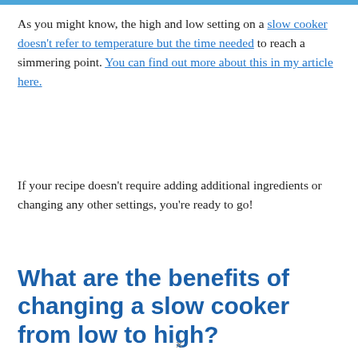As you might know, the high and low setting on a slow cooker doesn't refer to temperature but the time needed to reach a simmering point. You can find out more about this in my article here.
If your recipe doesn't require adding additional ingredients or changing any other settings, you're ready to go!
What are the benefits of changing a slow cooker from low to high?